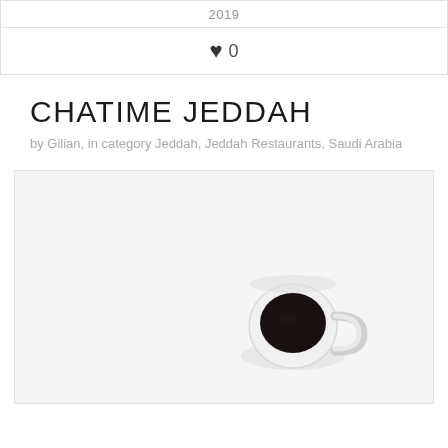2019
♥ 0
CHATIME JEDDAH
by Gilian, in category Jeddah, Jeddah Restaurants, Saudi Arabia
[Figure (photo): Overhead flat-lay photo of a small white coffee cup with black coffee, on a white/light gray background]